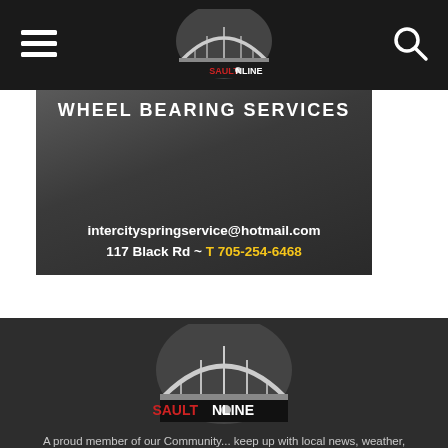SaultOnline navigation bar with hamburger menu and search icon
[Figure (logo): SaultOnline logo in navigation bar — bridge arch graphic with SAULT@NLINE text]
[Figure (photo): Wheel Bearing Services ad banner — dark textured background with text: intercityspringservice@hotmail.com, 117 Black Rd ~ T 705-254-6468]
[Figure (logo): SaultOnline footer logo — large bridge arch graphic with SAULT@NLINE text on dark background]
A proud member of our Community... keep up with local news, weather, sports, events and everything happening in and around our Naturally Gifted area. Our team takes great pride in our focus to not only tell the difficult stories, but the